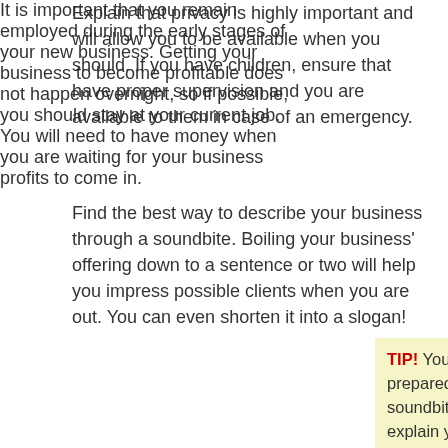Explain that privacy is highly important and will allow you to be available when you should. If you have children, ensure that have proper supervision and you are available to them in case of an emergency.
Find the best way to describe your business through a soundbite. Boiling your business' offering down to a sentence or two will help you impress possible clients when you are out. You can even shorten it into a slogan!
It is important that you remain employed during the early stages of your new business. Getting your business to become profitable does not happen overnight, so if possible, you should stay at your current job. You will need to have money when you are waiting for your business profits to come in.
TIP! You should be prepared to give a soundbite that can simply explain your business. If you can succinctly explain what you business does in a few words, you will likely impress clients in a